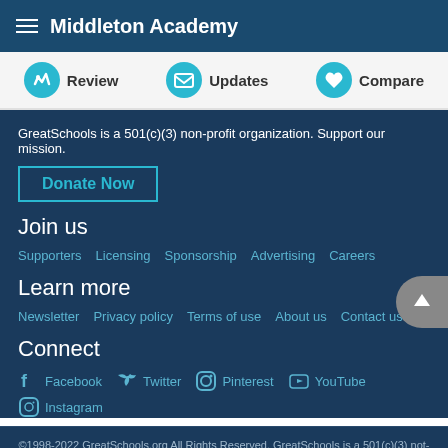Middleton Academy
Review   Updates   Compare
GreatSchools is a 501(c)(3) non-profit organization. Support our mission.
Donate Now
Join us
Supporters
Licensing
Sponsorship
Advertising
Careers
Learn more
Newsletter
Privacy policy
Terms of use
About us
Contact us
Connect
Facebook
Twitter
Pinterest
YouTube
Instagram
©1998-2022 GreatSchools.org All Rights Reserved. GreatSchools is a 501(c)(3) not-for-profit organization